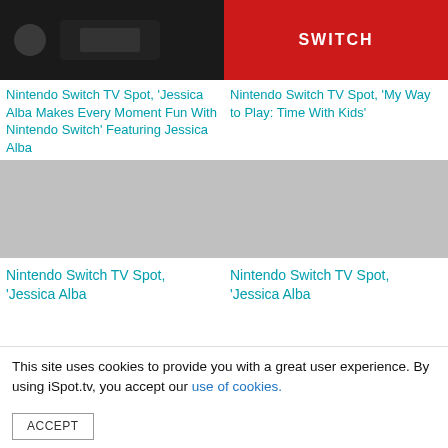[Figure (screenshot): Dark image showing Nintendo Switch setup in living room]
Nintendo Switch TV Spot, 'Jessica Alba Makes Every Moment Fun With Nintendo Switch' Featuring Jessica Alba
[Figure (screenshot): Red background with white 'SWITCH' text - Nintendo Switch branding]
Nintendo Switch TV Spot, 'My Way to Play: Time With Kids'
[Figure (screenshot): Gray placeholder image for Nintendo Switch TV spot]
Nintendo Switch TV Spot, 'Jessica Alba
[Figure (screenshot): Gray placeholder image for Nintendo Switch TV spot]
Nintendo Switch TV Spot, 'Jessica Alba
This site uses cookies to provide you with a great user experience. By using iSpot.tv, you accept our use of cookies.
ACCEPT